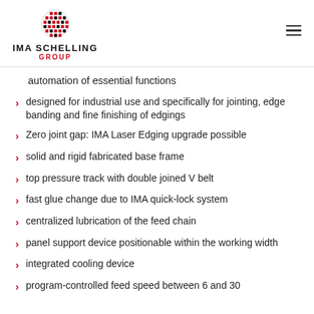[Figure (logo): IMA Schelling Group logo with globe icon]
automation of essential functions
designed for industrial use and specifically for jointing, edge banding and fine finishing of edgings
Zero joint gap: IMA Laser Edging upgrade possible
solid and rigid fabricated base frame
top pressure track with double joined V belt
fast glue change due to IMA quick-lock system
centralized lubrication of the feed chain
panel support device positionable within the working width
integrated cooling device
program-controlled feed speed between 6 and 30